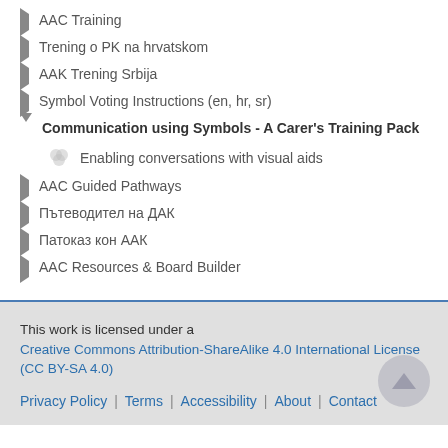AAC Training
Trening o PK na hrvatskom
AAK Trening Srbija
Symbol Voting Instructions (en, hr, sr)
Communication using Symbols - A Carer's Training Pack
Enabling conversations with visual aids
AAC Guided Pathways
Пътеводител на ДАК
Патоказ кон ААК
AAC Resources & Board Builder
This work is licensed under a Creative Commons Attribution-ShareAlike 4.0 International License (CC BY-SA 4.0)
Privacy Policy | Terms | Accessibility | About | Contact